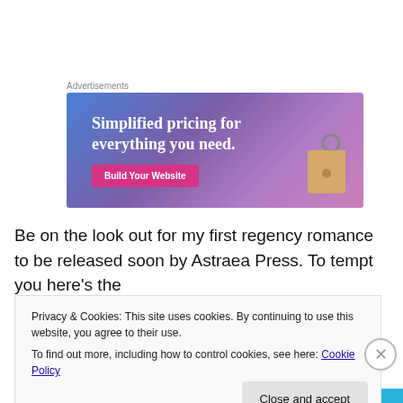Advertisements
[Figure (illustration): Advertisement banner with gradient blue-purple background, text 'Simplified pricing for everything you need.' and a pink 'Build Your Website' button, with a price tag graphic on the right.]
Be on the look out for my first regency romance to be released soon by Astraea Press. To tempt you here's the
Privacy & Cookies: This site uses cookies. By continuing to use this website, you agree to their use.
To find out more, including how to control cookies, see here: Cookie Policy